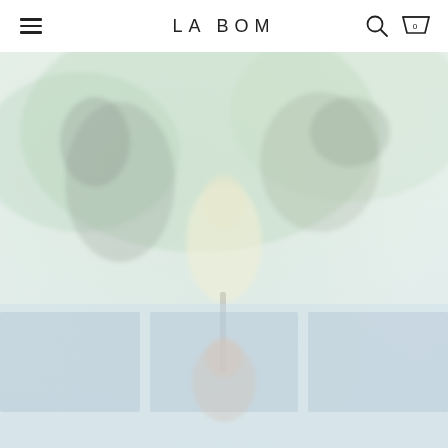LA BOM
[Figure (photo): Washed-out, heavily faded photograph of a person in a yellow/white dress with dark decorative figures or costumes in the upper portion. Lower portion shows a blueish area with what appears to be people. The image is very pale and desaturated, predominantly soft greens and blues.]